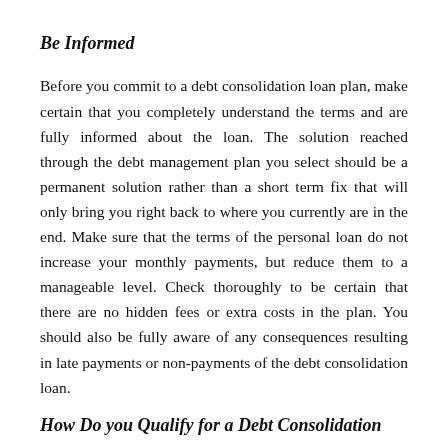Be Informed
Before you commit to a debt consolidation loan plan, make certain that you completely understand the terms and are fully informed about the loan. The solution reached through the debt management plan you select should be a permanent solution rather than a short term fix that will only bring you right back to where you currently are in the end. Make sure that the terms of the personal loan do not increase your monthly payments, but reduce them to a manageable level. Check thoroughly to be certain that there are no hidden fees or extra costs in the plan. You should also be fully aware of any consequences resulting in late payments or non-payments of the debt consolidation loan.
How Do you Qualify for a Debt Consolidation